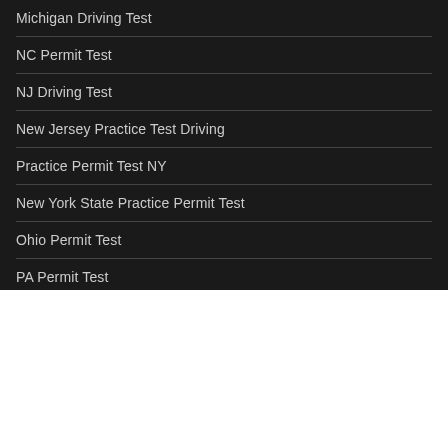Michigan Driving Test
NC Permit Test
NJ Driving Test
New Jersey Practice Test Driving
Practice Permit Test NY
New York State Practice Permit Test
Ohio Permit Test
PA Permit Test